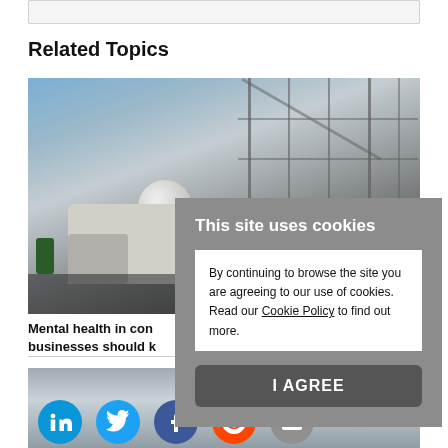Related Topics
[Figure (photo): Construction site with scaffolding, a white sphere/ball, and construction vehicles/trucks in the foreground against a blue sky]
Mental health in con... businesses should k...
[Figure (screenshot): Cookie consent overlay: 'This site uses cookies' with text 'By continuing to browse the site you are agreeing to our use of cookies. Read our Cookie Policy to find out more.' and an 'I AGREE' button]
[Figure (photo): Bottom image showing social media share icons (LinkedIn, Twitter, Facebook, Reddit, Email) overlaid on a construction/industrial background photo]